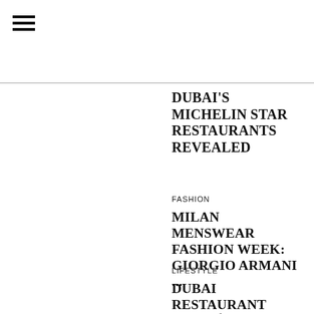☰
DUBAI'S MICHELIN STAR RESTAURANTS REVEALED
FASHION
MILAN MENSWEAR FASHION WEEK: GIORGIO ARMANI ...
LIFESTYLE
DUBAI RESTAURANT AMAZÓNICO INVITES YOU TO CE...